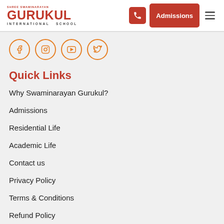SHREE SWAMINARAYAN GURUKUL INTERNATIONAL SCHOOL
[Figure (logo): Shree Swaminarayan Gurukul International School logo with red text]
[Figure (infographic): Social media icons: Facebook, Instagram, YouTube, Twitter in orange circles]
Quick Links
Why Swaminarayan Gurukul?
Admissions
Residential Life
Academic Life
Contact us
Privacy Policy
Terms & Conditions
Refund Policy